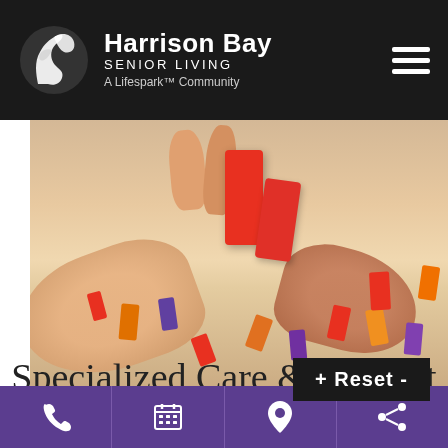[Figure (logo): Harrison Bay Senior Living logo — white bird/heron silhouette on black background, with text 'Harrison Bay SENIOR LIVING A Lifespark™ Community']
[Figure (photo): Close-up photo of hands placing colorful orange and purple domino pieces on a white table surface]
Specialized Care & Support
[Figure (screenshot): Dark overlay badge showing '+ Reset -' text controls]
[Figure (infographic): Purple bottom navigation bar with four icons: phone, calendar, location pin, share]